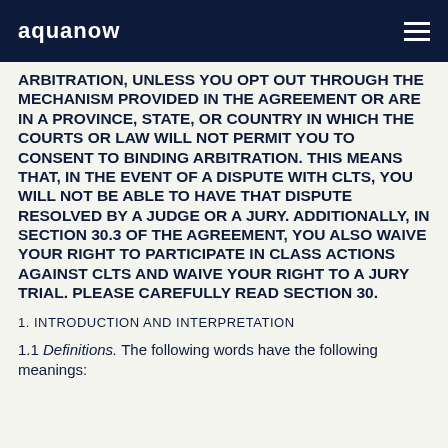aquanow
ARBITRATION, UNLESS YOU OPT OUT THROUGH THE MECHANISM PROVIDED IN THE AGREEMENT OR ARE IN A PROVINCE, STATE, OR COUNTRY IN WHICH THE COURTS OR LAW WILL NOT PERMIT YOU TO CONSENT TO BINDING ARBITRATION. THIS MEANS THAT, IN THE EVENT OF A DISPUTE WITH CLTS, YOU WILL NOT BE ABLE TO HAVE THAT DISPUTE RESOLVED BY A JUDGE OR A JURY. ADDITIONALLY, IN SECTION 30.3 OF THE AGREEMENT, YOU ALSO WAIVE YOUR RIGHT TO PARTICIPATE IN CLASS ACTIONS AGAINST CLTS AND WAIVE YOUR RIGHT TO A JURY TRIAL. PLEASE CAREFULLY READ SECTION 30.
1. INTRODUCTION AND INTERPRETATION
1.1 Definitions. The following words have the following meanings: